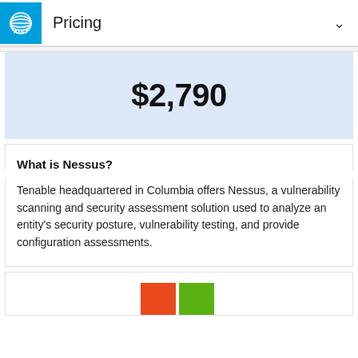Pricing
$2,790
What is Nessus?
Tenable headquartered in Columbia offers Nessus, a vulnerability scanning and security assessment solution used to analyze an entity's security posture, vulnerability testing, and provide configuration assessments.
[Figure (bar-chart): Partial bar chart showing two colored bars (red/orange and green) at the bottom of the page, partially cropped.]